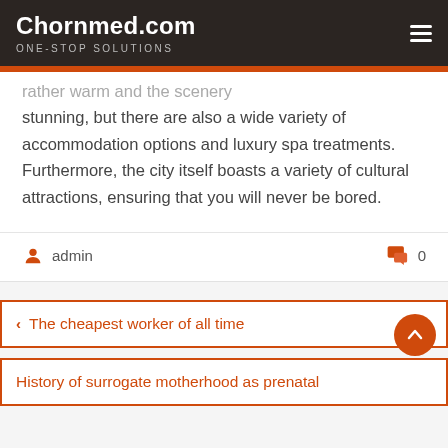Chornmed.com — ONE-STOP SOLUTIONS
rather warm and the scenery stunning, but there are also a wide variety of accommodation options and luxury spa treatments. Furthermore, the city itself boasts a variety of cultural attractions, ensuring that you will never be bored.
admin  0
‹ The cheapest worker of all time
History of surrogate motherhood as prenatal